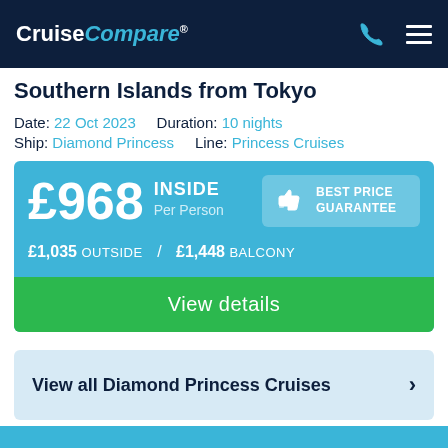CruiseCompare ®
Southern Islands from Tokyo
Date: 22 Oct 2023    Duration: 10 nights
Ship: Diamond Princess    Line: Princess Cruises
£968 INSIDE Per Person    BEST PRICE GUARANTEE
£1,035 OUTSIDE  /  £1,448 BALCONY
View details
View all Diamond Princess Cruises >